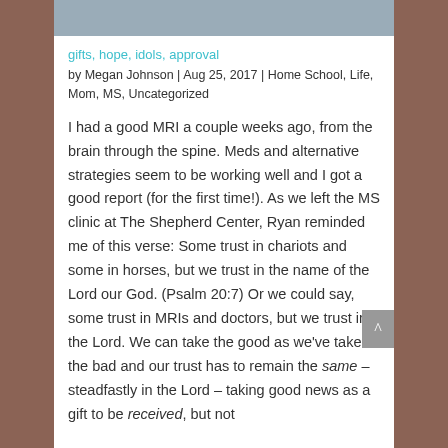[Figure (photo): Partial image visible at the top of the page, appears to be a landscape or outdoor photo cropped at top.]
gifts, hope, idols, approval
by Megan Johnson | Aug 25, 2017 | Home School, Life, Mom, MS, Uncategorized
I had a good MRI a couple weeks ago, from the brain through the spine. Meds and alternative strategies seem to be working well and I got a good report (for the first time!). As we left the MS clinic at The Shepherd Center, Ryan reminded me of this verse: Some trust in chariots and some in horses, but we trust in the name of the Lord our God. (Psalm 20:7) Or we could say, some trust in MRIs and doctors, but we trust in the Lord. We can take the good as we've taken the bad and our trust has to remain the same – steadfastly in the Lord – taking good news as a gift to be received, but not